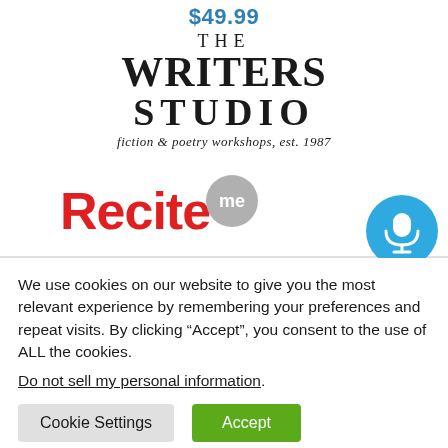$49.99
[Figure (logo): The Writers Studio logo — large serif bold text reading THE / WRITERS / STUDIO with tagline 'fiction & poetry workshops, est. 1987']
[Figure (logo): Recite Me logo — red bold text 'Recite' with a grey speech bubble containing 'me']
[Figure (other): Blue circular microphone button]
We use cookies on our website to give you the most relevant experience by remembering your preferences and repeat visits. By clicking “Accept”, you consent to the use of ALL the cookies.
Do not sell my personal information.
Cookie Settings
Accept